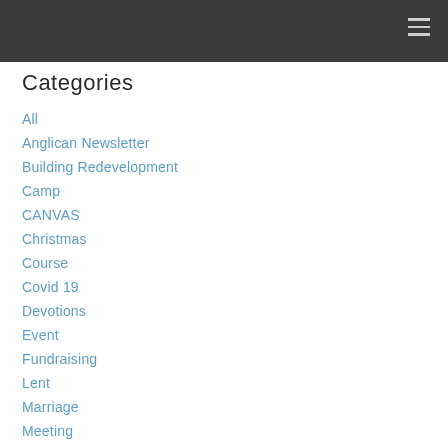Categories
All
Anglican Newsletter
Building Redevelopment
Camp
CANVAS
Christmas
Course
Covid 19
Devotions
Event
Fundraising
Lent
Marriage
Meeting
Nativity Kids
Nativity Quarterly Newsletter